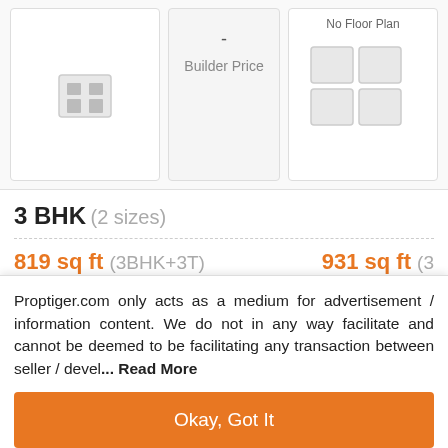Builder Price
[Figure (illustration): No Floor Plan placeholder icon with grey building/floor plan symbol]
No Floor Plan
3 BHK (2 sizes)
819 sq ft (3BHK+3T)
931 sq ft (3
[Figure (photo): ruby thumbnail image]
Floor
-
Builder Price
No Floor Plan
Proptiger.com only acts as a medium for advertisement / information content. We do not in any way facilitate and cannot be deemed to be facilitating any transaction between seller / devel... Read More
Okay, Got It